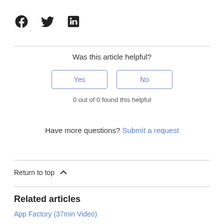[Figure (other): Social media icons: Facebook, Twitter, LinkedIn]
Was this article helpful?
Yes
No
0 out of 0 found this helpful
Have more questions? Submit a request
Return to top
Related articles
App Factory (37min Video)